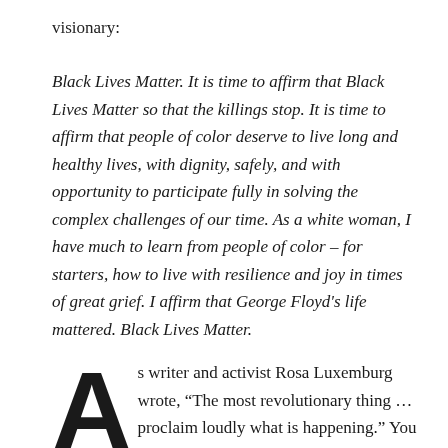visionary:
Black Lives Matter. It is time to affirm that Black Lives Matter so that the killings stop. It is time to affirm that people of color deserve to live long and healthy lives, with dignity, safely, and with opportunity to participate fully in solving the complex challenges of our time. As a white woman, I have much to learn from people of color – for starters, how to live with resilience and joy in times of great grief. I affirm that George Floyd's life mattered. Black Lives Matter.
As writer and activist Rosa Luxemburg wrote, “The most revolutionary thing … proclaim loudly what is happening.” You may consider this blog post to be a small